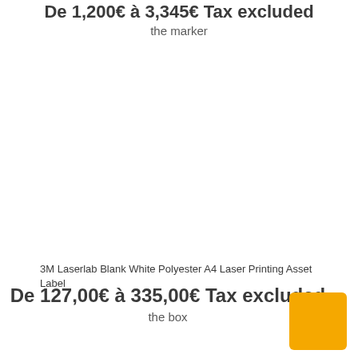De 1,200€ à 3,345€ Tax excluded
the marker
3M Laserlab Blank White Polyester A4 Laser Printing Asset Label
De 127,00€ à 335,00€ Tax excluded
the box
[Figure (illustration): Yellow/orange square button or swatch in bottom right corner]